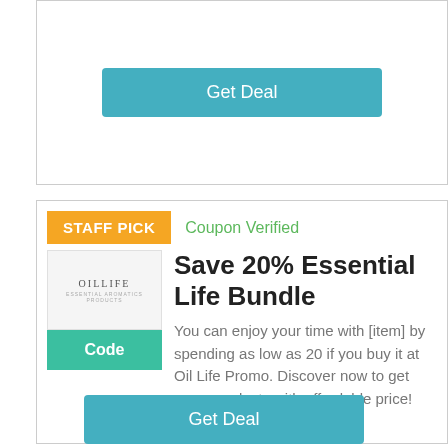[Figure (other): Get Deal button (teal/cyan) at top of page inside a card]
STAFF PICK
Coupon Verified
[Figure (logo): OilLife brand logo in a white box]
Code
Save 20% Essential Life Bundle
You can enjoy your time with [item] by spending as low as 20 if you buy it at Oil Life Promo. Discover now to get more products with affordable price!
[Figure (other): Get Deal button (teal/cyan) at bottom of page]